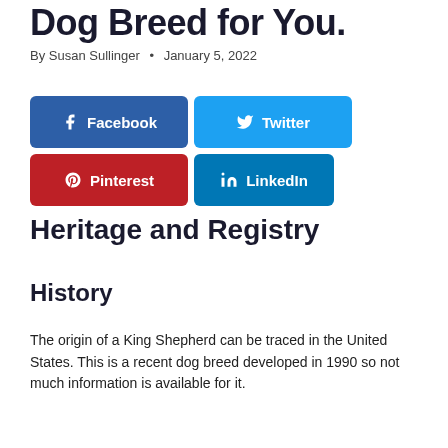Dog Breed for You.
By Susan Sullinger • January 5, 2022
[Figure (infographic): Social sharing buttons: Facebook (blue), Twitter (cyan), Pinterest (red), LinkedIn (blue)]
Heritage and Registry
History
The origin of a King Shepherd can be traced in the United States. This is a recent dog breed developed in 1990 so not much information is available for it.